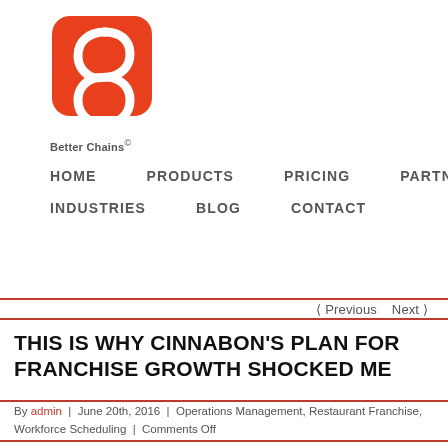[Figure (logo): Better Chains logo: orange/red rounded square with a stylized chain-link B mark, with text 'Better Chains©' below]
HOME   PRODUCTS   PRICING   PARTNERS   INDUSTRIES   BLOG   CONTACT
< Previous   Next >
THIS IS WHY CINNABON'S PLAN FOR FRANCHISE GROWTH SHOCKED ME
By admin | June 20th, 2016 | Operations Management, Restaurant Franchise, Workforce Scheduling | Comments Off